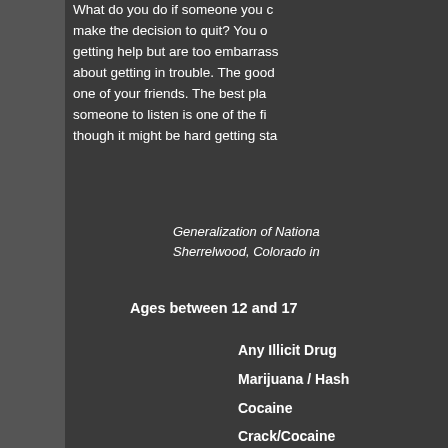What do you do if someone you care about wants to make the decision to quit? You or one of your friends getting help but are too embarrassed or worried about getting in trouble. The good news for you and one of your friends. The best place to start if someone to listen is one of the first steps even though it might be hard getting started.
Generalization of National... Sherrelwood, Colorado in...
Ages between 12 and 17
Any Illicit Drug
Marijuana / Hash
Cocaine
Crack/Cocaine
Heroin
LSD
PCP
Ecstasy/MDMA
Inhalants
Pain Medication
Tranquilizers
Stimulants
Methamphetamine
Sedatives
Ages between 18 and 25
Any Illicit Drug
Marijuana / Hash
Cocaine